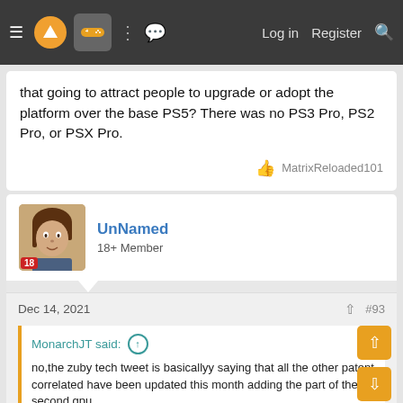Navigation bar with menu, logo, gamepad icon, grid, chat, Log in, Register, Search
that going to attract people to upgrade or adopt the platform over the base PS5? There was no PS3 Pro, PS2 Pro, or PSX Pro.
MatrixReloaded101
UnNamed
18+ Member
Dec 14, 2021  #93
MonarchJT said:
no,the zuby tech tweet is basicallyy saying that all the other patent correlated have been updated this month adding the part of the second gpu
The rumor is baseless and old, despite the patent being true (of course)